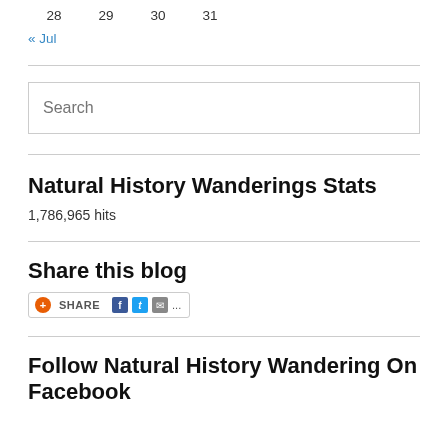28    29    30    31
« Jul
Search
Natural History Wanderings Stats
1,786,965 hits
Share this blog
[Figure (other): Share button widget with orange share icon, SHARE text, Facebook, Twitter, email icons and ellipsis]
Follow Natural History Wandering On Facebook